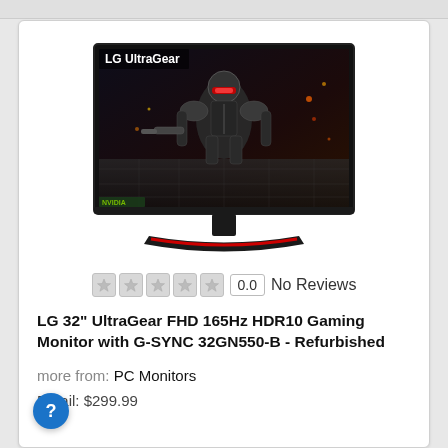[Figure (photo): LG UltaGear gaming monitor product photo showing a 32-inch monitor with a dark gaming scene featuring an armored figure, on a black stand with red accent base. LG UltraGear logo visible top left of screen.]
0.0  No Reviews
LG 32" UltraGear FHD 165Hz HDR10 Gaming Monitor with G-SYNC 32GN550-B - Refurbished
more from: PC Monitors
Retail: $299.99